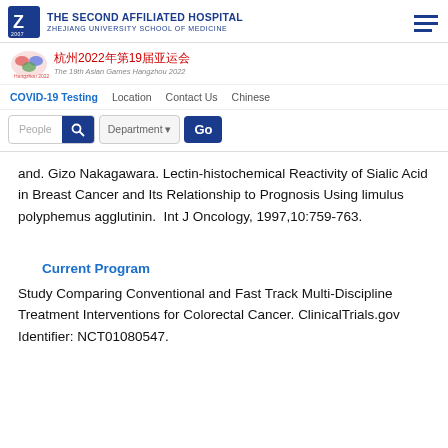THE SECOND AFFILIATED HOSPITAL ZHEJIANG UNIVERSITY SCHOOL OF MEDICINE
[Figure (logo): Z logo for The Second Affiliated Hospital, Zhejiang University School of Medicine]
[Figure (logo): Hangzhou 2022 19th Asian Games logo with Chinese and English text: 杭州2022年第19届亚运会 The 19th Asian Games Hangzhou 2022]
COVID-19 Testing   Location   Contact Us   Chinese
People  Department  Go
and. Gizo Nakagawara. Lectin-histochemical Reactivity of Sialic Acid in Breast Cancer and Its Relationship to Prognosis Using limulus polyphemus agglutinin.  Int J Oncology, 1997,10:759-763.
Current Program
Study Comparing Conventional and Fast Track Multi-Discipline Treatment Interventions for Colorectal Cancer. ClinicalTrials.gov Identifier: NCT01080547.